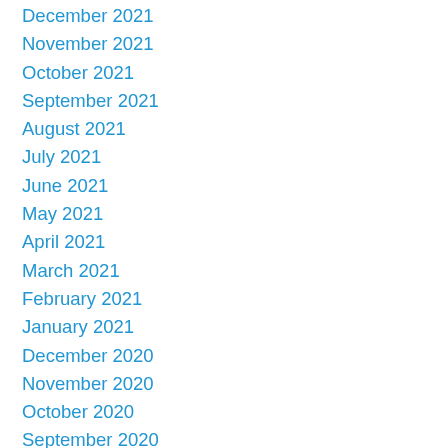December 2021
November 2021
October 2021
September 2021
August 2021
July 2021
June 2021
May 2021
April 2021
March 2021
February 2021
January 2021
December 2020
November 2020
October 2020
September 2020
August 2020
July 2020
June 2020
May 2020